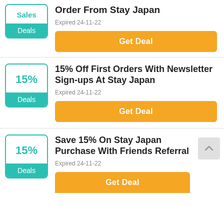Free Shipping On Any Order From Stay Japan
Expired 24-11-22
Get Deal
15% Off First Orders With Newsletter Sign-ups At Stay Japan
Expired 24-11-22
Get Deal
Save 15% On Stay Japan Purchase With Friends Referral
Expired 24-11-22
Get Deal